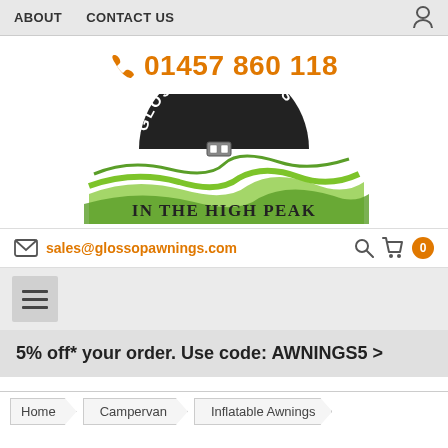ABOUT   CONTACT US
01457 860 118
[Figure (logo): Glossop Awnings In The High Peak logo with green wave design and sunburst]
sales@glossopawnings.com
5% off* your order. Use code: AWNINGS5 >
Home > Campervan > Inflatable Awnings